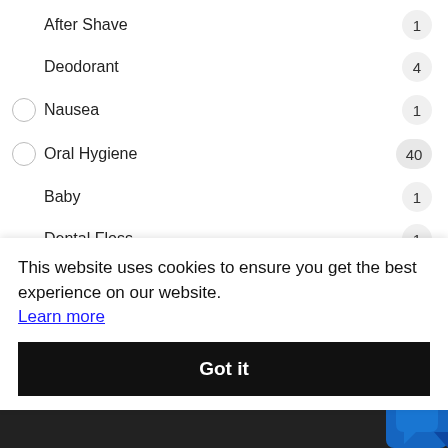After Shave
Deodorant
Nausea
Oral Hygiene
Baby
Dental Floss
Denture
Mouth Wash
This website uses cookies to ensure you get the best experience on our website.
Learn more
Got it